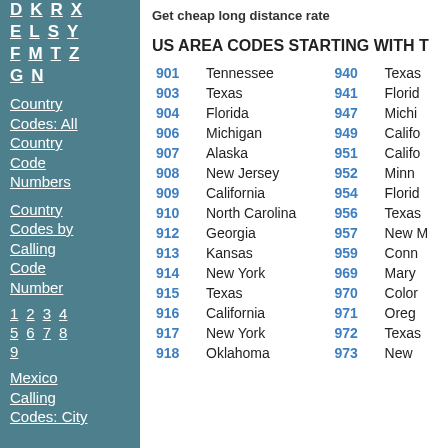D K R X
E L S Y
F M T Z
G N
Country Codes: All Country Code Numbers
Country Codes by Calling Code Number
1 2 3 4
5 6 7 8
9
Mexico Calling Codes: City
Get cheap long distance rate
US AREA CODES STARTING WITH T
| Code | State | Code | State |
| --- | --- | --- | --- |
| 901 | Tennessee | 940 | Texas |
| 903 | Texas | 941 | Florida |
| 904 | Florida | 947 | Michigan |
| 906 | Michigan | 949 | California |
| 907 | Alaska | 951 | California |
| 908 | New Jersey | 952 | Minnesota |
| 909 | California | 954 | Florida |
| 910 | North Carolina | 956 | Texas |
| 912 | Georgia | 957 | New M |
| 913 | Kansas | 959 | Connecticut |
| 914 | New York | 969 | Maryland |
| 915 | Texas | 970 | Colorado |
| 916 | California | 971 | Oregon |
| 917 | New York | 972 | Texas |
| 918 | Oklahoma | 973 | New |